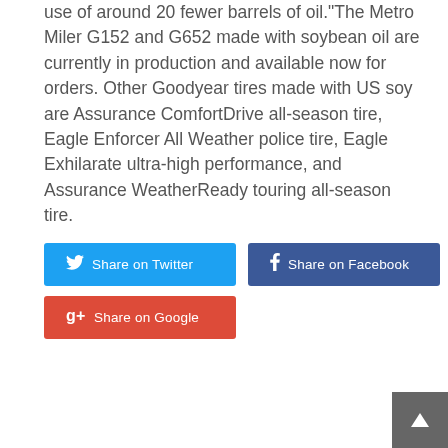use of around 20 fewer barrels of oil.“The Metro Miler G152 and G652 made with soybean oil are currently in production and available now for orders. Other Goodyear tires made with US soy are Assurance ComfortDrive all-season tire, Eagle Enforcer All Weather police tire, Eagle Exhilarate ultra-high performance, and Assurance WeatherReady touring all-season tire.
[Figure (other): Share on Twitter button (blue), Share on Facebook button (dark blue), Share on Google button (red)]